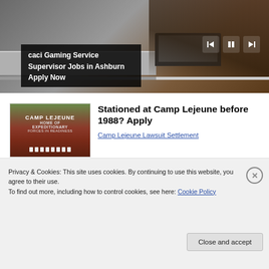[Figure (screenshot): Top banner advertisement showing a person at a desk with a laptop. Media player controls visible (skip back, pause, skip forward). Progress bar beneath. Black overlay text reads: 'caci Gaming Service Supervisor Jobs in Ashburn Apply Now']
[Figure (photo): Camp Lejeune entrance sign photo showing brick sign reading 'CAMP LEJEUNE HOME OF EXPEDITIONARY FORCES IN READINESS' with white crosses/grave markers in foreground and trees in background]
Stationed at Camp Lejeune before 1988? Apply
Camp Lejeune Lawsuit Settlement
Privacy & Cookies: This site uses cookies. By continuing to use this website, you agree to their use.
To find out more, including how to control cookies, see here: Cookie Policy
Close and accept